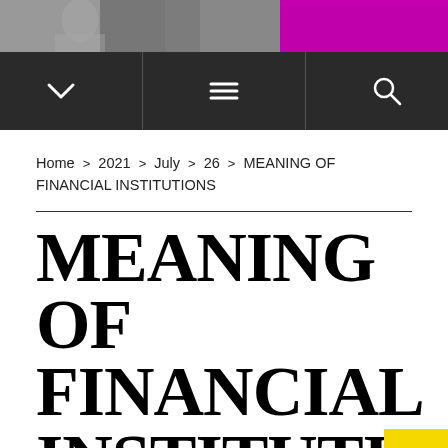[Figure (photo): Top banner image with person and purple/magenta gradient band]
Navigation bar with dropdown chevron, hamburger menu, and search icon
Home > 2021 > July > 26 > MEANING OF FINANCIAL INSTITUTIONS
MEANING OF FINANCIAL INSTITUTIONS